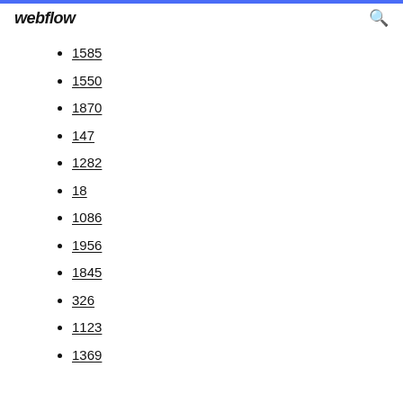webflow
1585
1550
1870
147
1282
18
1086
1956
1845
326
1123
1369